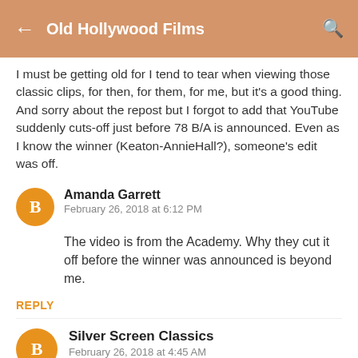Old Hollywood Films
I must be getting old for I tend to tear when viewing those classic clips, for then, for them, for me, but it's a good thing.
And sorry about the repost but I forgot to add that YouTube suddenly cuts-off just before 78 B/A is announced. Even as I know the winner (Keaton-AnnieHall?), someone's edit was off.
Amanda Garrett
February 26, 2018 at 6:12 PM
The video is from the Academy. Why they cut it off before the winner was announced is beyond me.
REPLY
Silver Screen Classics
February 26, 2018 at 4:45 AM
Fascinating tribute, a beautiful tribute to all...